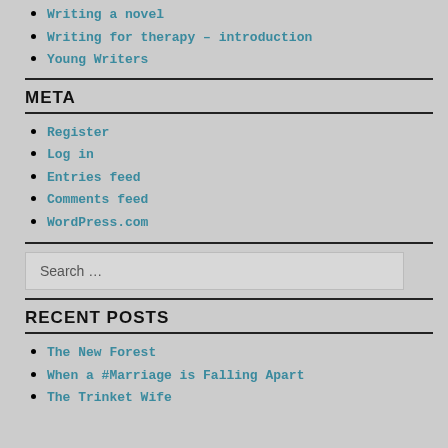Writing a novel
Writing for therapy – introduction
Young Writers
META
Register
Log in
Entries feed
Comments feed
WordPress.com
Search …
RECENT POSTS
The New Forest
When a #Marriage is Falling Apart
The Trinket Wife